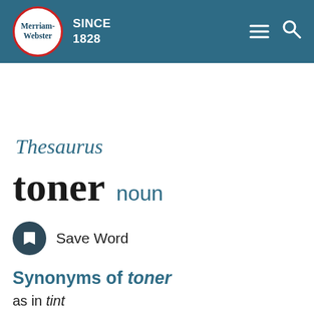Merriam-Webster SINCE 1828
Thesaurus
toner noun
Save Word
Synonyms of toner
as in tint